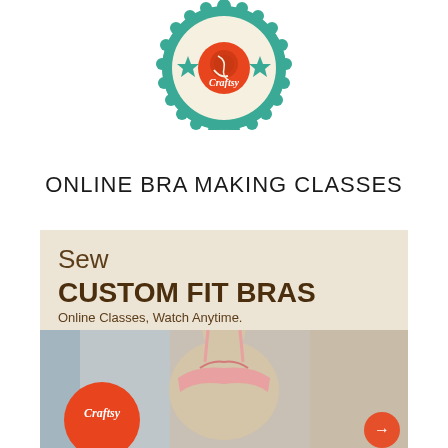[Figure (logo): Craftsy badge/seal logo in teal and cream with stars, yarn ball icon, and 'Craftsy' text in the center]
ONLINE BRA MAKING CLASSES
[Figure (illustration): Craftsy advertisement showing a sewing mannequin wearing a custom-fit pink bra. Text reads: 'Sew CUSTOM FIT BRAS Online Classes, Watch Anytime.' Craftsy logo in orange circle at bottom left, arrow at bottom right.]